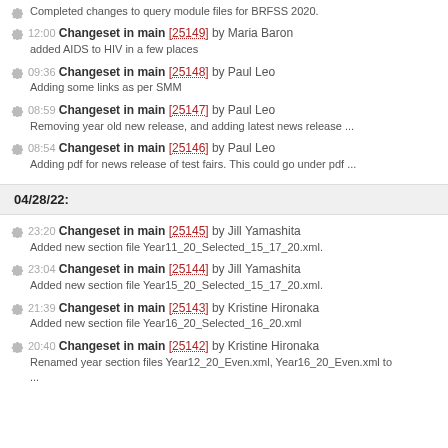Completed changes to query module files for BRFSS 2020.
12:00 Changeset in main [25149] by Maria Baron
added AIDS to HIV in a few places
09:36 Changeset in main [25148] by Paul Leo
Adding some links as per SMM
08:59 Changeset in main [25147] by Paul Leo
Removing year old new release, and adding latest news release ...
08:54 Changeset in main [25146] by Paul Leo
Adding pdf for news release of test fairs. This could go under pdf ...
04/28/22:
23:20 Changeset in main [25145] by Jill Yamashita
Added new section file Year11_20_Selected_15_17_20.xml.
23:04 Changeset in main [25144] by Jill Yamashita
Added new section file Year15_20_Selected_15_17_20.xml.
21:39 Changeset in main [25143] by Kristine Hironaka
Added new section file Year16_20_Selected_16_20.xml
20:40 Changeset in main [25142] by Kristine Hironaka
Renamed year section files Year12_20_Even.xml, Year16_20_Even.xml to ...